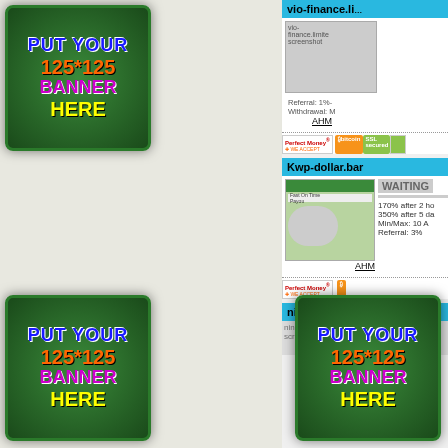[Figure (infographic): Top-left banner: PUT YOUR 125*125 BANNER HERE on dark green background]
[Figure (infographic): Top-right banner: PUT YOUR 125*125 BANNER HERE on dark green background]
[Figure (screenshot): vio-finance.li website screenshot with payment icons including Perfect Money, Bitcoin, SSL secured]
[Figure (screenshot): Kwp-dollar.bar website screenshot. WAITING status. 170% after 2 hours, 350% after 5 days, Min/Max: 10, Referral: 3%]
[Figure (infographic): Bottom-left banner: PUT YOUR 125*125 BANNER HERE on dark green background]
[Figure (infographic): Bottom-right banner: PUT YOUR 125*125 BANNER HERE on dark green background]
ninebit.live